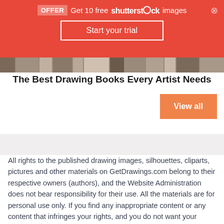[Figure (screenshot): Red Shutterstock promotional banner with 'OFFER Get 10 free shutterstock images' text and 'Start your trial' button]
[Figure (photo): Horizontal strip of book spine images]
The Best Drawing Books Every Artist Needs
View all
All rights to the published drawing images, silhouettes, cliparts, pictures and other materials on GetDrawings.com belong to their respective owners (authors), and the Website Administration does not bear responsibility for their use. All the materials are for personal use only. If you find any inappropriate content or any content that infringes your rights, and you do not want your material to be shown on this website, please contact the administration and we will immediately remove that material protected by copyright.